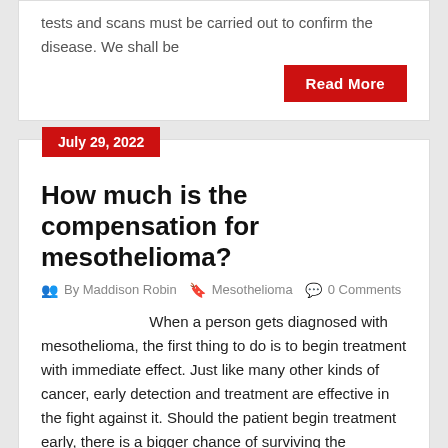tests and scans must be carried out to confirm the disease. We shall be
Read More
July 29, 2022
How much is the compensation for mesothelioma?
By Maddison Robin  Mesothelioma  0 Comments
When a person gets diagnosed with mesothelioma, the first thing to do is to begin treatment with immediate effect. Just like many other kinds of cancer, early detection and treatment are effective in the fight against it. Should the patient begin treatment early, there is a bigger chance of surviving the disease.   However, some